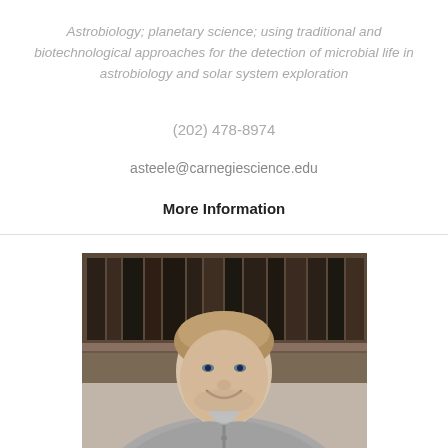Astrobiology; planetary science; using traditional and biotechnological approaches for the detection of microbial life in astrobiology and solar system exploration
(202) 478-8974
asteele@carnegiescience.edu
More Information
[Figure (photo): Portrait photo of a man with light brown hair, smiling, wearing a gray zip-up sweater over a plaid shirt, standing in front of a wooden bookshelf filled with dark-bound books]